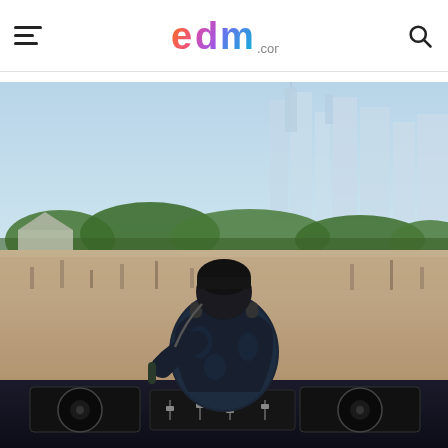EDM.com - navigation header with hamburger menu, EDM.com logo, and search icon
[Figure (photo): A DJ performing on stage at a large outdoor music festival. The DJ is seen from behind, wearing a dark floral jacket and headphones, with turntables in the foreground. A massive crowd of thousands of festival-goers stretches out in front, with arms raised. In the background are green trees and the Chicago city skyline under a bright blue sky.]